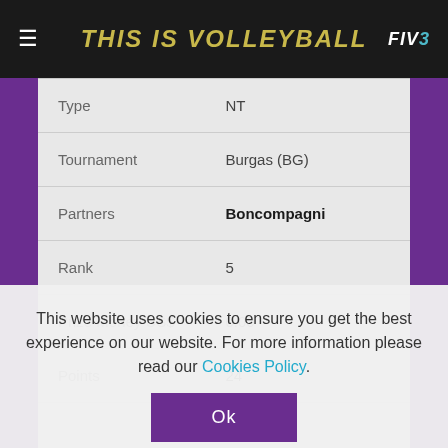THIS IS VOLLEYBALL
| Field | Value |
| --- | --- |
| Type | NT |
| Tournament | Burgas (BG) |
| Partners | Boncompagni |
| Rank | 5 |
| Prize Money US$ | 0.00 |
| Points | 24 |
| Season |  |
| Date |  |
This website uses cookies to ensure you get the best experience on our website. For more information please read our Cookies Policy.
Ok